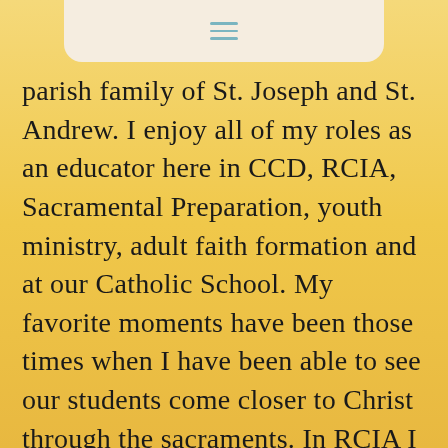≡
parish family of St. Joseph and St. Andrew. I enjoy all of my roles as an educator here in CCD, RCIA, Sacramental Preparation, youth ministry, adult faith formation and at our Catholic School. My favorite moments have been those times when I have been able to see our students come closer to Christ through the sacraments. In RCIA I have really enjoyed the healing and love I get to spread to our candidate.